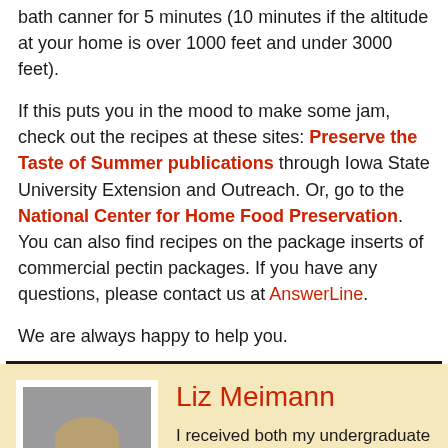bath canner for 5 minutes (10 minutes if the altitude at your home is over 1000 feet and under 3000 feet).
If this puts you in the mood to make some jam, check out the recipes at these sites: Preserve the Taste of Summer publications through Iowa State University Extension and Outreach. Or, go to the National Center for Home Food Preservation. You can also find recipes on the package inserts of commercial pectin packages. If you have any questions, please contact us at AnswerLine.
We are always happy to help you.
[Figure (photo): Headshot photo of Liz Meimann, a woman with short light hair wearing an orange/red shirt, shown from shoulders up against a grey background.]
Liz Meimann
I received both my undergraduate and graduate degrees in Food Science at Iowa State University. I love to quilt, sew, cook, and bake. I spent many years